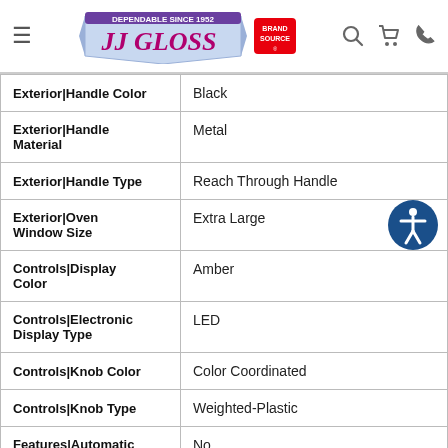JJ Gloss - Dependable Since 1952 - Brand Source
| Attribute | Value |
| --- | --- |
| Exterior|Handle Color | Black |
| Exterior|Handle Material | Metal |
| Exterior|Handle Type | Reach Through Handle |
| Exterior|Oven Window Size | Extra Large |
| Controls|Display Color | Amber |
| Controls|Electronic Display Type | LED |
| Controls|Knob Color | Color Coordinated |
| Controls|Knob Type | Weighted-Plastic |
| Features|Automatic Convection Conversion | No |